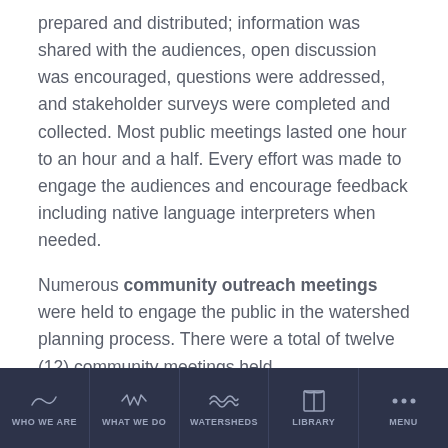prepared and distributed; information was shared with the audiences, open discussion was encouraged, questions were addressed, and stakeholder surveys were completed and collected. Most public meetings lasted one hour to an hour and a half. Every effort was made to engage the audiences and encourage feedback including native language interpreters when needed.

Numerous community outreach meetings were held to engage the public in the watershed planning process. There were a total of twelve (12) community meetings held
WHO WE ARE | WHAT WE DO | WATERSHEDS | LIBRARY | MENU